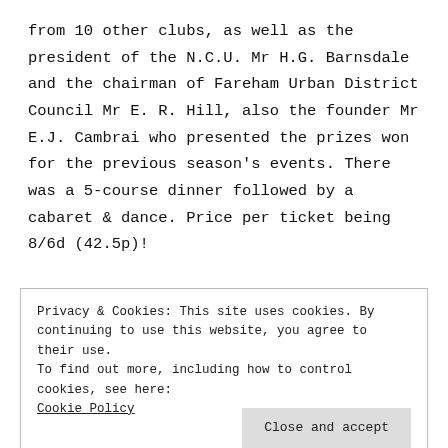from 10 other clubs, as well as the president of the N.C.U. Mr H.G. Barnsdale and the chairman of Fareham Urban District Council Mr E. R. Hill, also the founder Mr E.J. Cambrai who presented the prizes won for the previous season's events. There was a 5-course dinner followed by a cabaret & dance. Price per ticket being 8/6d (42.5p)!
Privacy & Cookies: This site uses cookies. By continuing to use this website, you agree to their use. To find out more, including how to control cookies, see here: Cookie Policy
the appointment of the first road racing